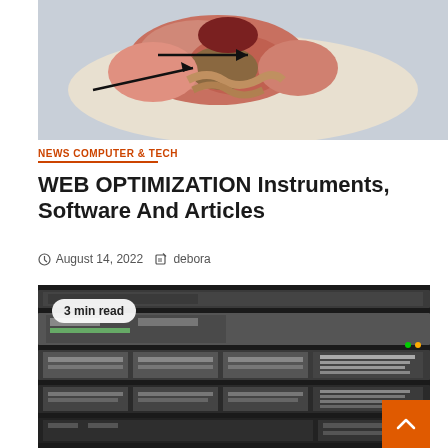[Figure (photo): Top portion of a dissected animal (likely a rat or mouse) on a blue surgical tray showing internal organs with two black arrows pointing to specific anatomical structures]
NEWS COMPUTER & TECH
WEB OPTIMIZATION Instruments, Software And Articles
August 14, 2022   debora
[Figure (photo): Server rack hardware showing multiple rack-mounted servers with drives and components visible, with a '3 min read' badge overlay in the top left corner]